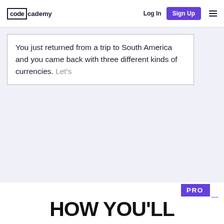codecademy — Log In | Sign Up
You just returned from a trip to South America and you came back with three different kinds of currencies. Let's
[Figure (logo): PRO logo badge — purple rectangle with white PRO text and underscore]
HOW YOU'LL MASTER IT